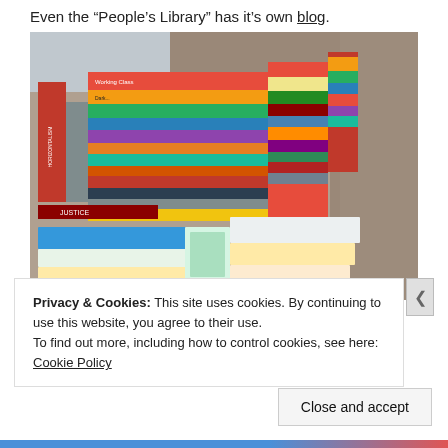Even the “People’s Library” has it’s own blog.
[Figure (photo): A large pile of books of various sizes and colors stacked on what appears to be a marble or granite surface, outdoors. Visible titles include 'Horizontalism', 'Working Class', 'Justice', and many others. A plastic covering is visible in the upper left.]
Privacy & Cookies: This site uses cookies. By continuing to use this website, you agree to their use.
To find out more, including how to control cookies, see here: Cookie Policy
Close and accept